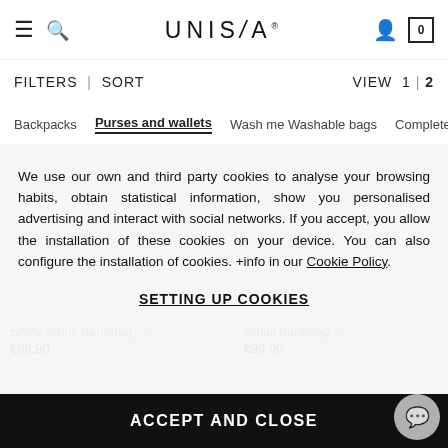UNISA® — navigation header with hamburger menu, search, user and bag icons
FILTERS | SORT    VIEW 1 | 2
Backpacks   Purses and wallets   Wash me Washable bags   Complete o…
We use our own and third party cookies to analyse your browsing habits, obtain statistical information, show you personalised advertising and interact with social networks. If you accept, you allow the installation of these cookies on your device. You can also configure the installation of cookies. +info in our Cookie Policy.
SETTING UP COOKIES
ACCEPT AND CLOSE
Shiny fabric handbag
€99.90
Small handbag
€99.90